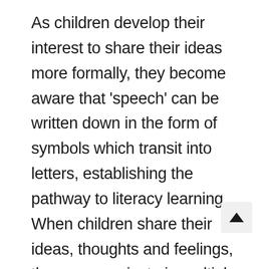As children develop their interest to share their ideas more formally, they become aware that 'speech' can be written down in the form of symbols which transit into letters, establishing the pathway to literacy learning. When children share their ideas, thoughts and feelings, they communicate in multiple ways and languages, using their bodies (dance, drama, movement and mime) as well as visual and graphic forms of expression (painting, drawing, modelling with clay, constructing with recyclable materials). Symbolic or preten play is also a mode of communication, whereby children communicate their understandings about their world and the people in it.